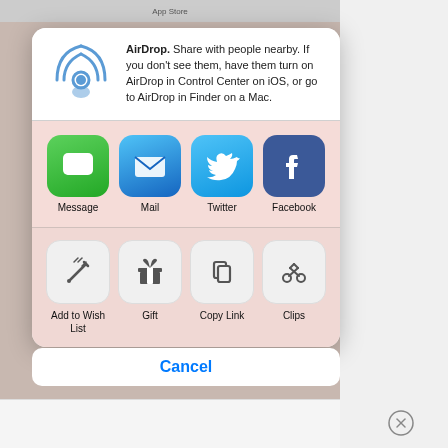[Figure (screenshot): iOS share sheet modal showing AirDrop section with icon and description text, app sharing row with Message, Mail, Twitter, Facebook icons, action row with Add to Wish List, Gift, Copy Link, Clips icons, and a Cancel button at the bottom.]